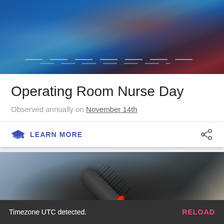[Figure (photo): Photo of a surgical operating room table with medical instruments and blue draping, gloved hands visible]
Operating Room Nurse Day
Observed annually on November 14th
LEARN MORE
[Figure (photo): Close-up photo of a conference microphone with a red ring, blurred audience in the background]
Timezone UTC detected.   RELOAD